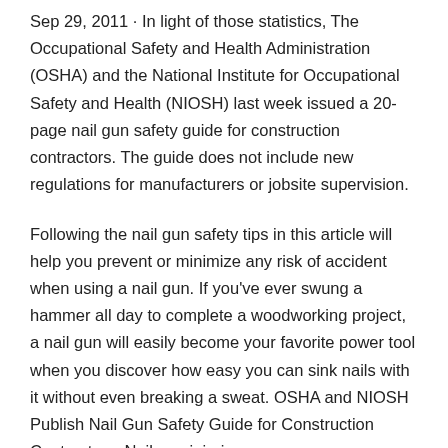Sep 29, 2011 · In light of those statistics, The Occupational Safety and Health Administration (OSHA) and the National Institute for Occupational Safety and Health (NIOSH) last week issued a 20-page nail gun safety guide for construction contractors. The guide does not include new regulations for manufacturers or jobsite supervision.
Following the nail gun safety tips in this article will help you prevent or minimize any risk of accident when using a nail gun. If you've ever swung a hammer all day to complete a woodworking project, a nail gun will easily become your favorite power tool when you discover how easy you can sink nails with it without even breaking a sweat. OSHA and NIOSH Publish Nail Gun Safety Guide for Construction Contractors. Nail gun injuries are common—one study found that 2 out of 5 residential carpenter apprentices experienced a nail gun injury over a four-year period. Gari Elofson 2019-10-16T15:09:42